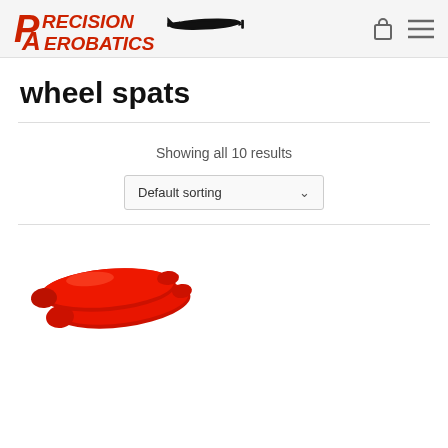[Figure (logo): Precision Aerobatics logo with red stylized text and black airplane silhouette]
wheel spats
Showing all 10 results
Default sorting
[Figure (photo): Two red aerobatic wheel spats (teardrop-shaped fairings) photographed on white background]